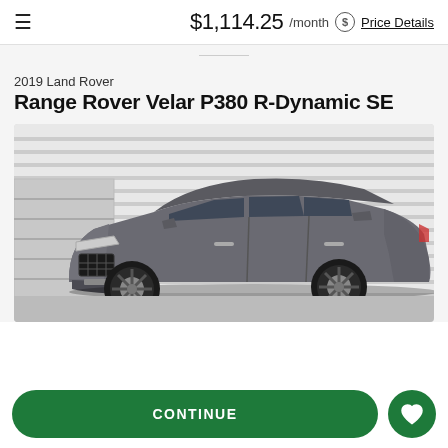$1,114.25 /month ⓢ Price Details
2019 Land Rover
Range Rover Velar P380 R-Dynamic SE
[Figure (photo): Gray 2019 Range Rover Velar P380 R-Dynamic SE SUV parked in front of a white horizontal siding building/garage. Three-quarter front view showing the front grille, headlights, and sporty multi-spoke alloy wheels.]
CONTINUE